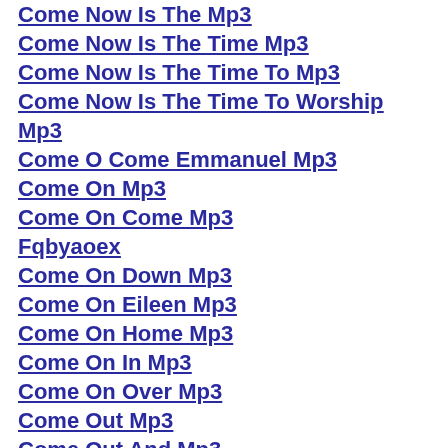Come Now Is The Mp3
Come Now Is The Time Mp3
Come Now Is The Time To Mp3
Come Now Is The Time To Worship Mp3
Come O Come Emmanuel Mp3
Come On Mp3
Come On Come Mp3
Fqbyaoex
Come On Down Mp3
Come On Eileen Mp3
Come On Home Mp3
Come On In Mp3
Come On Over Mp3
Come Out Mp3
Come Out And Mp3
Come Out And Play Mp3
Come Over Mp3
Fqbyaoex
Come Rain Mp3
Come Rain Or Mp3
Come Rain Or Come Mp3
Come Rain Or Come Shine Mp3
Come Sail Mp3
Come Sail Away Mp3
Come See Mp3